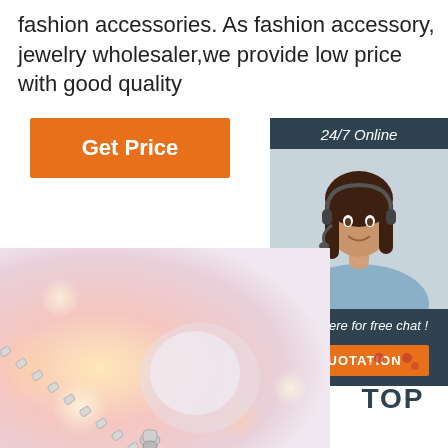fashion accessories. As fashion accessory, jewelry wholesaler,we provide low price with good quality
[Figure (other): Orange 'Get Price' button]
[Figure (other): 24/7 Online chat widget with customer service agent photo, 'Click here for free chat!' text, and orange QUOTATION button]
[Figure (photo): Close-up photo of a silver box chain necklace with pendant on a soft pink/peach bokeh background]
[Figure (other): Orange and dark 'TOP' badge with dots above]